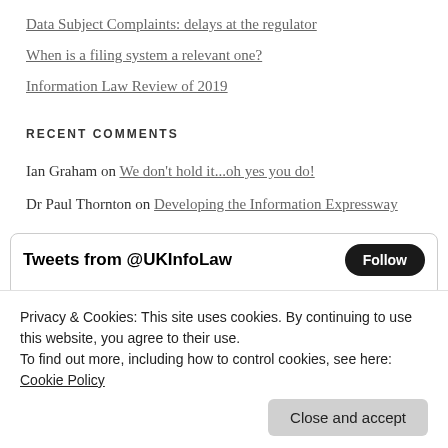Data Subject Complaints: delays at the regulator
When is a filing system a relevant one?
Information Law Review of 2019
RECENT COMMENTS
Ian Graham on We don't hold it...oh yes you do!
Dr Paul Thornton on Developing the Information Expressway
[Figure (screenshot): Embedded Twitter widget showing 'Tweets from @UKInfoLaw' with a Follow button]
Privacy & Cookies: This site uses cookies. By continuing to use this website, you agree to their use.
To find out more, including how to control cookies, see here: Cookie Policy
Close and accept